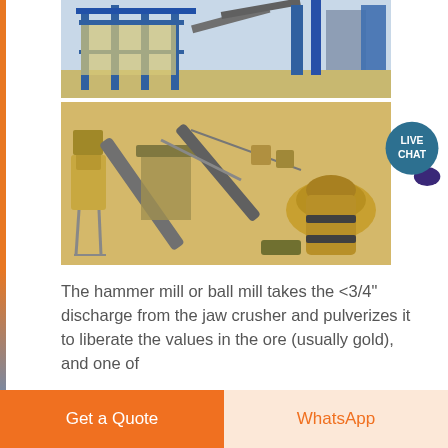[Figure (photo): Mining/crushing plant facility showing conveyor belts, jaw crushers, cone crushers, and industrial equipment against a sandy/desert background. Two photos composited together — top shows blue-framed industrial building, bottom shows overhead view of crushing/screening plant.]
The hammer mill or ball mill takes the <3/4" discharge from the jaw crusher and pulverizes it to liberate the values in the ore (usually gold), and one of
Get a Quote
WhatsApp